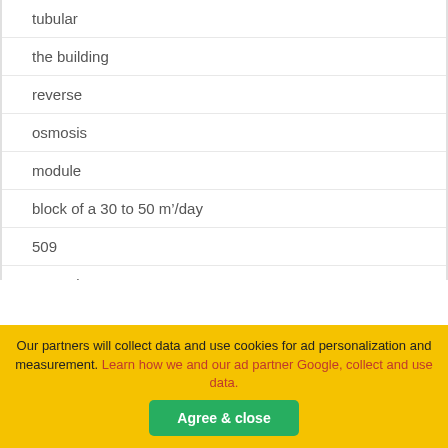tubular
the building
reverse
osmosis
module
block of a 30 to 50 m’/day
509
osmosis
reverse
support
Our partners will collect data and use cookies for ad personalization and measurement. Learn how we and our ad partner Google, collect and use data.